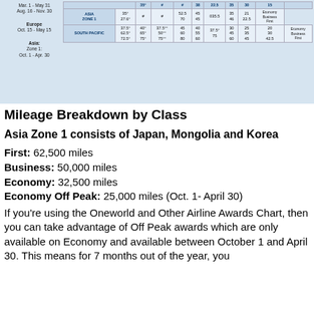[Figure (table-as-image): Partial award chart table showing Asia Zone 1 and South Pacific rows with mileage values and season dates for Economy, Business, First class]
Mileage Breakdown by Class
Asia Zone 1 consists of Japan, Mongolia and Korea
First: 62,500 miles
Business: 50,000 miles
Economy: 32,500 miles
Economy Off Peak: 25,000 miles (Oct. 1- April 30)
If you’re using the Oneworld and Other Airline Awards Chart, then you can take advantage of Off Peak awards which are only available on Economy and available between October 1 and April 30. This means for 7 months out of the year, you